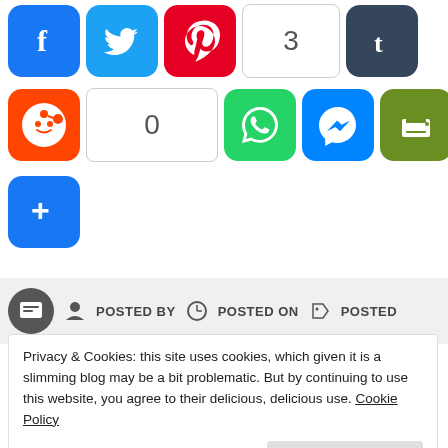[Figure (screenshot): Social media share buttons row 1: Facebook (blue), Twitter (blue), Pinterest (red), share count 3, Tumblr (dark navy)]
[Figure (screenshot): Social media share buttons row 2: Reddit (orange), share count 0, WhatsApp (green), Messenger (blue), Print (olive green)]
[Figure (screenshot): More share options button (blue plus icon)]
POSTED BY    POSTED ON    POSTED
Privacy & Cookies: this site uses cookies, which given it is a slimming blog may be a bit problematic. But by continuing to use this website, you agree to their delicious, delicious use. Cookie Policy
Close and accept